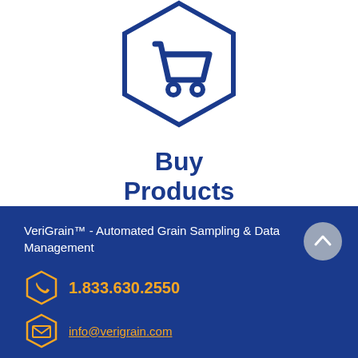[Figure (illustration): Dark blue hexagon outline with a shopping cart icon inside]
Buy
Products
VeriGrain™ - Automated Grain Sampling & Data Management
1.833.630.2550
info@verigrain.com